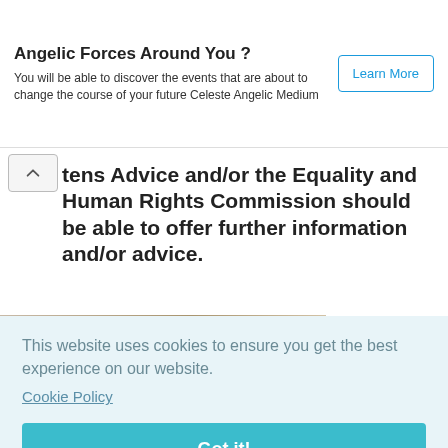Angelic Forces Around You ? You will be able to discover the events that are about to change the course of your future Celeste Angelic Medium
Citizens Advice and/or the Equality and Human Rights Commission should be able to offer further information and/or advice.
[Figure (photo): Hand holding a pen writing on documents/blueprints, with stacked envelopes in the background]
This website uses cookies to ensure you get the best experience on our website.
Cookie Policy
Got it!